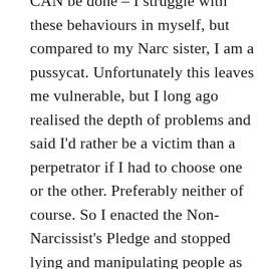CAN be done – I struggle with these behaviours in myself, but compared to my Narc sister, I am a pussycat. Unfortunately this leaves me vulnerable, but I long ago realised the depth of problems and said I'd rather be a victim than a perpetrator if I had to choose one or the other. Preferably neither of course. So I enacted the Non-Narcissist's Pledge and stopped lying and manipulating people as much as possible. No, it is NOT easy, but one MUST be the person with whom the buck stops, and not pass it on to another generation or similar. I am far from